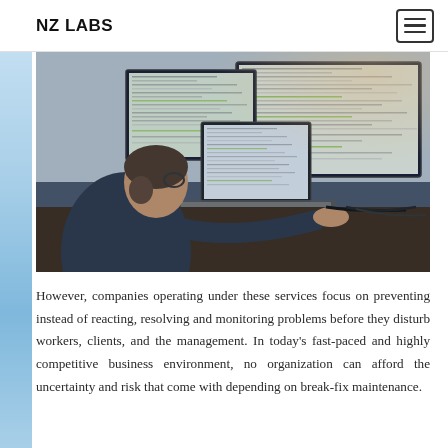NZ LABS
[Figure (photo): A man with a beard and glasses sitting at a desk working on multiple computer monitors showing code and data, viewed from behind/side angle.]
However, companies operating under these services focus on preventing instead of reacting, resolving and monitoring problems before they disturb workers, clients, and the management. In today’s fast-paced and highly competitive business environment, no organization can afford the uncertainty and risk that come with depending on break-fix maintenance.